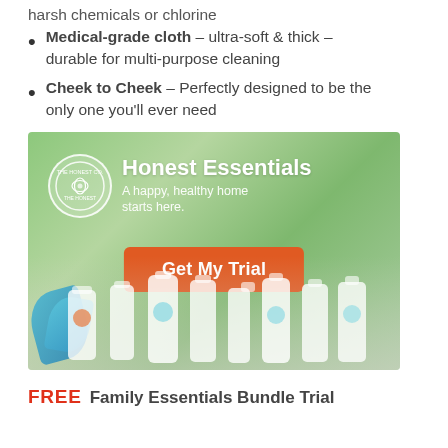harsh chemicals or chlorine
Medical-grade cloth – ultra-soft & thick – durable for multi-purpose cleaning
Cheek to Cheek – Perfectly designed to be the only one you'll ever need
[Figure (photo): Advertisement for The Honest Co. Honest Essentials showing product lineup with 'Get My Trial' button and tagline 'A happy, healthy home starts here.']
FREE Family Essentials Bundle Trial